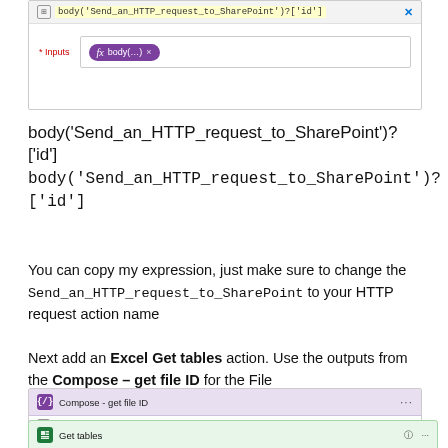[Figure (screenshot): Screenshot of a Power Automate compose action showing body(...) pill in the Inputs field, with expression bar showing body('Send_an_HTTP_request_to_SharePoint')?['id']]
body('Send_an_HTTP_request_to_SharePoint')?['id']
body('Send_an_HTTP_request_to_SharePoint')?
['id']
You can copy my expression, just make sure to change the Send_an_HTTP_request_to_SharePoint to your HTTP request action name
Next add an Excel Get tables action. Use the outputs from the Compose – get file ID for the File
[Figure (screenshot): Screenshot showing Power Automate Compose - get file ID action and Get tables action below it]